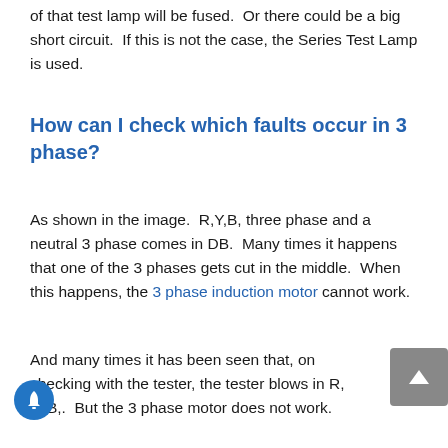of that test lamp will be fused.  Or there could be a big short circuit.  If this is not the case, the Series Test Lamp is used.
How can I check which faults occur in 3 phase?
As shown in the image.  R,Y,B, three phase and a neutral 3 phase comes in DB.  Many times it happens that one of the 3 phases gets cut in the middle.  When this happens, the 3 phase induction motor cannot work.
And many times it has been seen that, on checking with the tester, the tester blows in R, Y, B,.  But the 3 phase motor does not work.